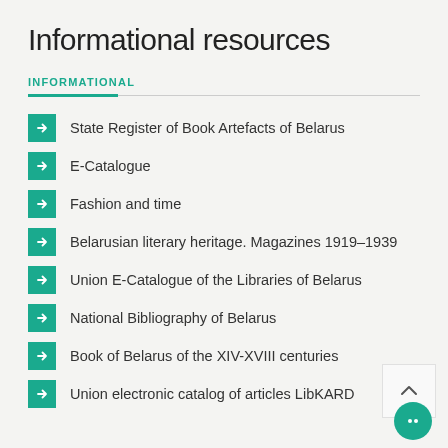Informational resources
INFORMATIONAL
State Register of Book Artefacts of Belarus
E-Catalogue
Fashion and time
Belarusian literary heritage. Magazines 1919–1939
Union E-Catalogue of the Libraries of Belarus
National Bibliography of Belarus
Book of Belarus of the XIV-XVIII centuries
Union electronic catalog of articles LibKARD